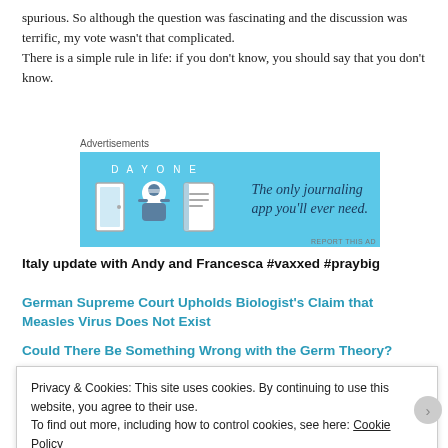spurious. So although the question was fascinating and the discussion was terrific, my vote wasn't that complicated.
There is a simple rule in life: if you don't know, you should say that you don't know.
[Figure (other): Day One journaling app advertisement banner on a light blue background with app icons and tagline 'The only journaling app you'll ever need.']
Italy update with Andy and Francesca #vaxxed #praybig
German Supreme Court Upholds Biologist's Claim that Measles Virus Does Not Exist
Could There Be Something Wrong with the Germ Theory?
Privacy & Cookies: This site uses cookies. By continuing to use this website, you agree to their use.
To find out more, including how to control cookies, see here: Cookie Policy